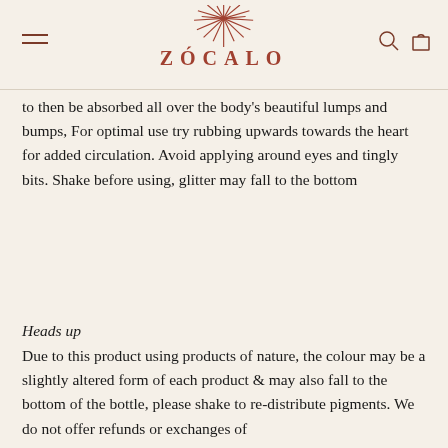ZÓCALO
to then be absorbed all over the body's beautiful lumps and bumps, For optimal use try rubbing upwards towards the heart for added circulation. Avoid applying around eyes and tingly bits. Shake before using, glitter may fall to the bottom
Heads up
Due to this product using products of nature, the colour may be a slightly altered form of each product & may also fall to the bottom of the bottle, please shake to re-distribute pigments. We do not offer refunds or exchanges of